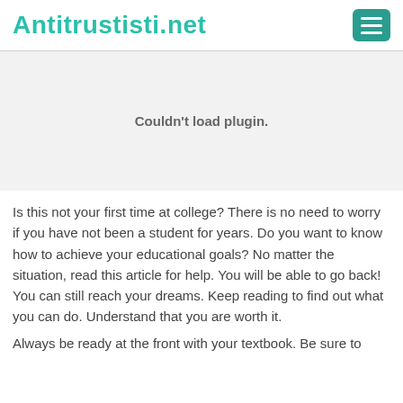Antitrustisti.net
[Figure (other): Plugin placeholder area with text 'Couldn't load plugin.']
Is this not your first time at college? There is no need to worry if you have not been a student for years. Do you want to know how to achieve your educational goals? No matter the situation, read this article for help. You will be able to go back! You can still reach your dreams. Keep reading to find out what you can do. Understand that you are worth it.
Always be ready at the front with your textbook. Be sure to...